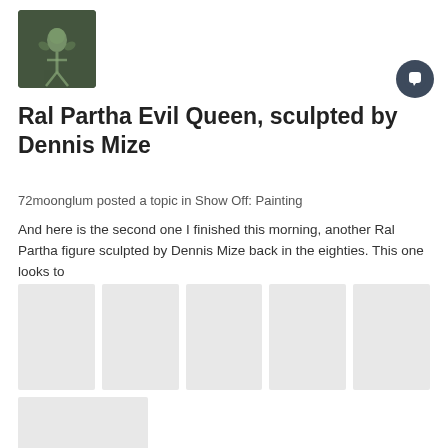[Figure (photo): Small avatar/thumbnail image of a miniature figurine, appears to be a fantasy creature on a dark background]
Ral Partha Evil Queen, sculpted by Dennis Mize
72moonglum posted a topic in Show Off: Painting
And here is the second one I finished this morning, another Ral Partha figure sculpted by Dennis Mize back in the eighties. This one looks to
[Figure (photo): Six placeholder image thumbnails arranged in two rows showing content images]
May 15, 2020   16 replies   56
ral partha   evil queen   (and 2 more)